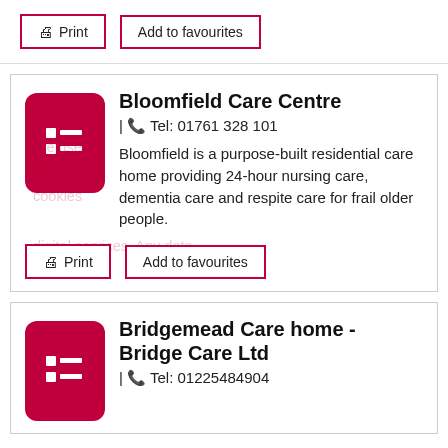Print | Add to favourites
Bloomfield Care Centre
| Tel: 01761 328 101
Bloomfield is a purpose-built residential care home providing 24-hour nursing care, dementia care and respite care for frail older people.
Print | Add to favourites
Bridgemead Care home - Bridge Care Ltd
| Tel: 01225484904